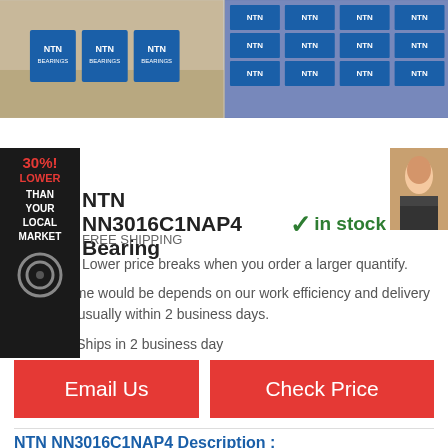[Figure (photo): Two product photos of NTN bearing boxes side by side. Left image shows blue NTN bearing boxes on a wooden surface. Right image shows multiple NTN bearing boxes stacked.]
[Figure (infographic): 30% LOWER THAN YOUR LOCAL MARKET promotional badge in black background with red text, with a bearing icon at the bottom. On the right side, a chat/support badge showing a woman's photo.]
NTN NN3016C1NAP4 Bearing ✓ in stock
FREE SHIPPING
Lower price breaks when you order a larger quantify.
Leading time would be depends on our work efficiency and delivery schedule, usually within 2 business days.
Shipping: Ships in 2 business day
Email Us
Check Price
NTN NN3016C1NAP4 Description :